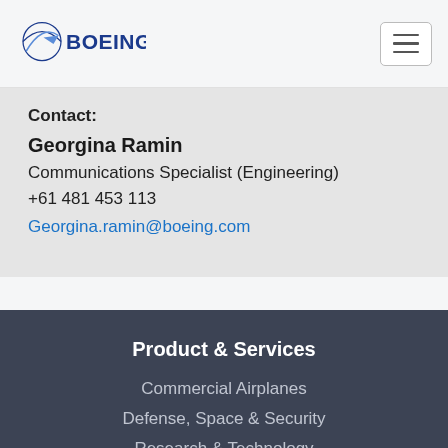[Figure (logo): Boeing logo with globe and text BOEING in blue]
[Figure (other): Hamburger menu button with three horizontal lines]
Contact:
Georgina Ramin
Communications Specialist (Engineering)
+61 481 453 113
Georgina.ramin@boeing.com
Product & Services
Commercial Airplanes
Defense, Space & Security
Research & Technology